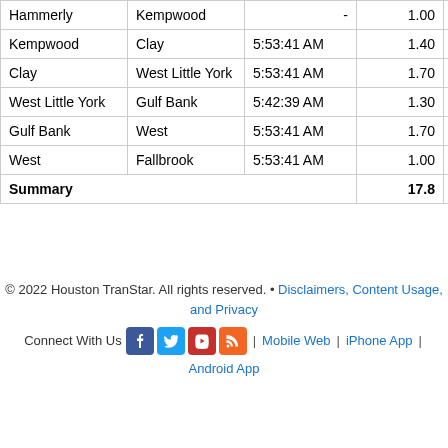| From | To | Time | Miles | Duration |
| --- | --- | --- | --- | --- |
| Hammerly | Kempwood | - | 1.00 |  |
| Kempwood | Clay | 5:53:41 AM | 1.40 | 1:1… |
| Clay | West Little York | 5:53:41 AM | 1.70 | 1:2… |
| West Little York | Gulf Bank | 5:42:39 AM | 1.30 | 1:0… |
| Gulf Bank | West | 5:53:41 AM | 1.70 | 1:2… |
| West | Fallbrook | 5:53:41 AM | 1.00 | 00:5… |
| Summary |  |  | 17.8 | 11:5… |
© 2022 Houston TranStar. All rights reserved. • Disclaimers, Content Usage, and Privacy
Connect With Us | Mobile Web | iPhone App | Android App